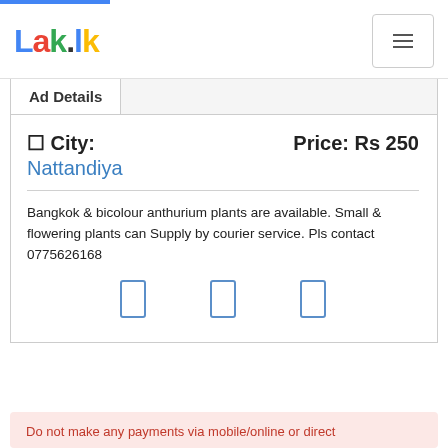Lak.lk
Ad Details
City: Nattandiya    Price: Rs 250
Bangkok & bicolour anthurium plants are available. Small & flowering plants can Supply by courier service. Pls contact 0775626168
Do not make any payments via mobile/online or direct